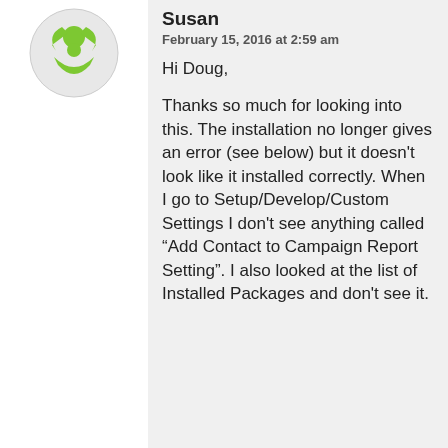[Figure (illustration): Green avatar icon with recycle/person symbol on white background, left sidebar]
Susan
February 15, 2016 at 2:59 am
Hi Doug,

Thanks so much for looking into this. The installation no longer gives an error (see below) but it doesn't look like it installed correctly. When I go to Setup/Develop/Custom Settings I don't see anything called “Add Contact to Campaign Report Setting”. I also looked at the list of Installed Packages and don't see it.